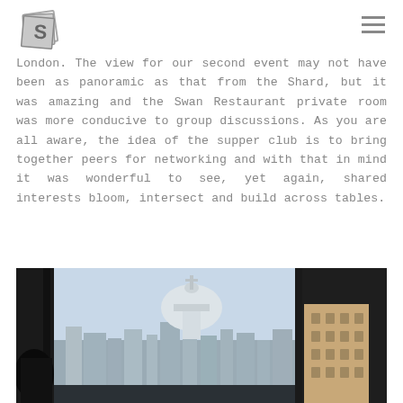[Figure (logo): Stylized letter S logo on overlapping tilted square shapes in gray]
London. The view for our second event may not have been as panoramic as that from the Shard, but it was amazing and the Swan Restaurant private room was more conducive to group discussions. As you are all aware, the idea of the supper club is to bring together peers for networking and with that in mind it was wonderful to see, yet again, shared interests bloom, intersect and build across tables.
[Figure (photo): View through dark window frames showing St Paul's Cathedral dome and London cityscape with buildings under a light blue sky, with a plant visible in the foreground left]